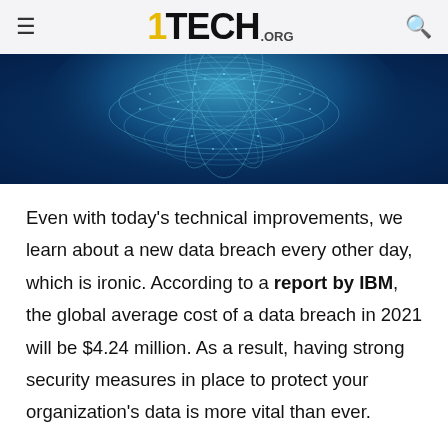1TECH.ORG
[Figure (illustration): Blue digital network mesh sphere on dark blue background — decorative hero banner image]
Even with today's technical improvements, we learn about a new data breach every other day, which is ironic. According to a report by IBM, the global average cost of a data breach in 2021 will be $4.24 million. As a result, having strong security measures in place to protect your organization's data is more vital than ever.